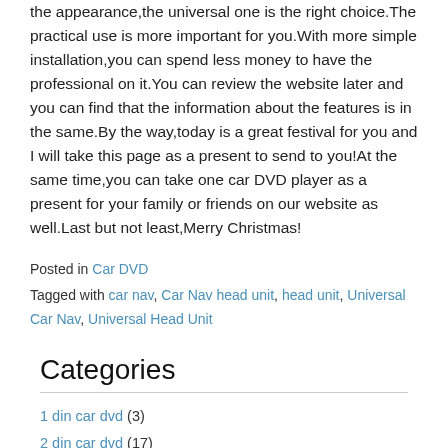the appearance,the universal one is the right choice.The practical use is more important for you.With more simple installation,you can spend less money to have the professional on it.You can review the website later and you can find that the information about the features is in the same.By the way,today is a great festival for you and I will take this page as a present to send to you!At the same time,you can take one car DVD player as a present for your family or friends on our website as well.Last but not least,Merry Christmas!
Posted in Car DVD
Tagged with car nav, Car Nav head unit, head unit, Universal Car Nav, Universal Head Unit
Categories
1 din car dvd (3)
2 din car dvd (17)